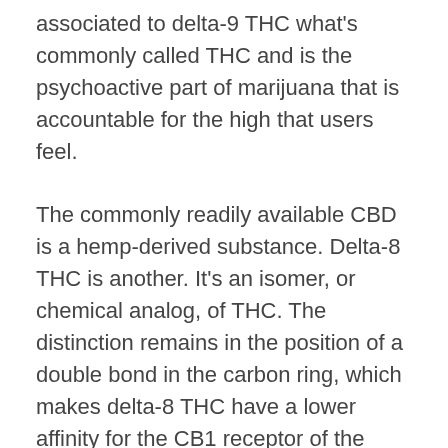associated to delta-9 THC what's commonly called THC and is the psychoactive part of marijuana that is accountable for the high that users feel.
The commonly readily available CBD is a hemp-derived substance. Delta-8 THC is another. It's an isomer, or chemical analog, of THC. The distinction remains in the position of a double bond in the carbon ring, which makes delta-8 THC have a lower affinity for the CB1 receptor of the endocannabinoid system in our brains.